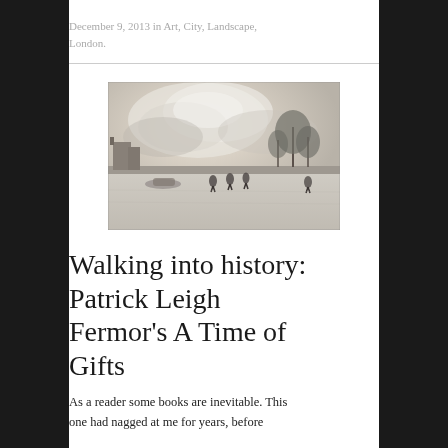December 9, 2013 in Art, City, Landscape, London.
[Figure (photo): A winter landscape painting showing figures skating or walking on a frozen river or canal, with bare trees and buildings in the background under a pale cloudy sky. The style appears to be classical Dutch or Flemish painting.]
Walking into history: Patrick Leigh Fermor's A Time of Gifts
As a reader some books are inevitable. This one had nagged at me for years, before